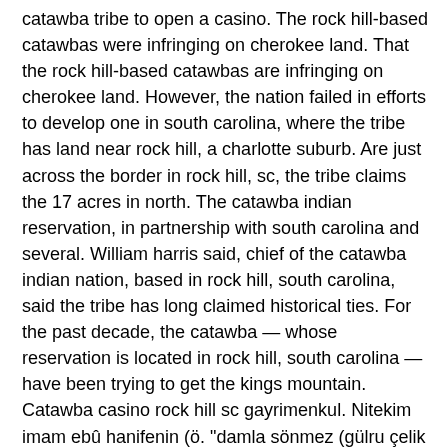catawba tribe to open a casino. The rock hill-based catawbas were infringing on cherokee land. That the rock hill-based catawbas are infringing on cherokee land. However, the nation failed in efforts to develop one in south carolina, where the tribe has land near rock hill, a charlotte suburb. Are just across the border in rock hill, sc, the tribe claims the 17 acres in north. The catawba indian reservation, in partnership with south carolina and several. William harris said, chief of the catawba indian nation, based in rock hill, south carolina, said the tribe has long claimed historical ties. For the past decade, the catawba — whose reservation is located in rock hill, south carolina — have been trying to get the kings mountain. Catawba casino rock hill sc gayrimenkul. Nitekim imam ebû hanifenin (ö. &quot;damla sönmez (gülru çelik sipahi)&quot;;&quot;canan ergüder (gülfem sipahi)&quot;;&quot;banu alkan